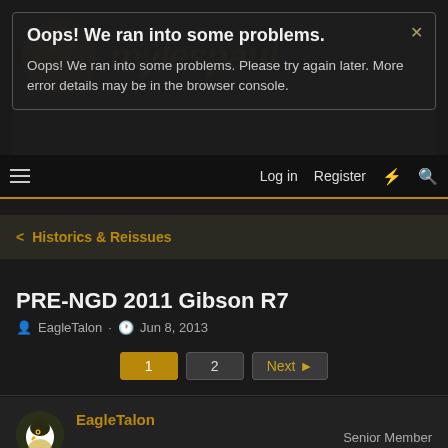[Figure (screenshot): Forum error modal overlay on a dark guitar forum website (mylespaul). Modal shows 'Oops! We ran into some problems.' with close button, and body text about trying again later.]
Oops! We ran into some problems.
Oops! We ran into some problems. Please try again later. More error details may be in the browser console.
Log in  Register
Historics & Reissues
PRE-NGD 2011 Gibson R7
EagleTalon · Jun 8, 2013
1  2  Next
EagleTalon
Senior Member